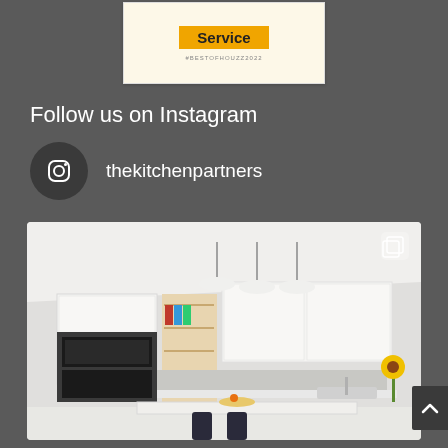[Figure (screenshot): Award card with yellow 'Service' label and hashtag #BESTOFHOUZZ2022 on cream background]
Follow us on Instagram
thekitchenpartners
[Figure (photo): Modern white kitchen interior with pendant lights, kitchen island, ovens, and open shelving]